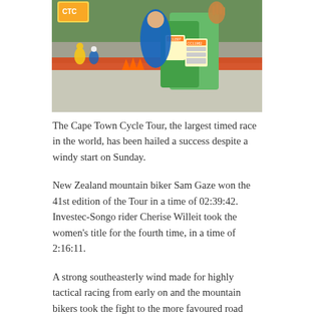[Figure (photo): Outdoor cycling event scene: volunteers in green vests with race bibs on the right side, cyclists and spectators visible in the background along a road with orange traffic cones and red barrier tape.]
The Cape Town Cycle Tour, the largest timed race in the world, has been hailed a success despite a windy start on Sunday.
New Zealand mountain biker Sam Gaze won the 41st edition of the Tour in a time of 02:39:42. Investec-Songo rider Cherise Willeit took the women’s title for the fourth time, in a time of 2:16:11.
A strong southeasterly wind made for highly tactical racing from early on and the mountain bikers took the fight to the more favoured road teams.
But it was the vibe on the route that attracted the most